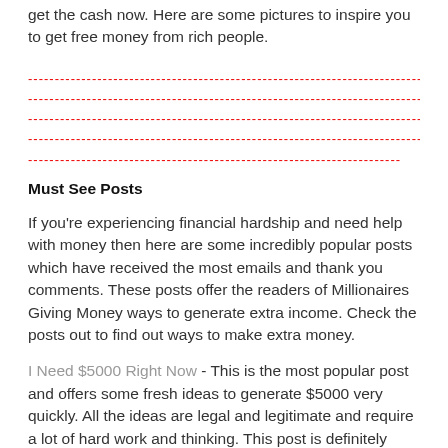get the cash now. Here are some pictures to inspire you to get free money from rich people.
[Figure (other): Five rows of red dashed lines used as a decorative separator/placeholder for images]
Must See Posts
If you're experiencing financial hardship and need help with money then here are some incredibly popular posts which have received the most emails and thank you comments. These posts offer the readers of Millionaires Giving Money ways to generate extra income. Check the posts out to find out ways to make extra money.
I Need $5000 Right Now - This is the most popular post and offers some fresh ideas to generate $5000 very quickly. All the ideas are legal and legitimate and require a lot of hard work and thinking. This post is definitely worth reading if